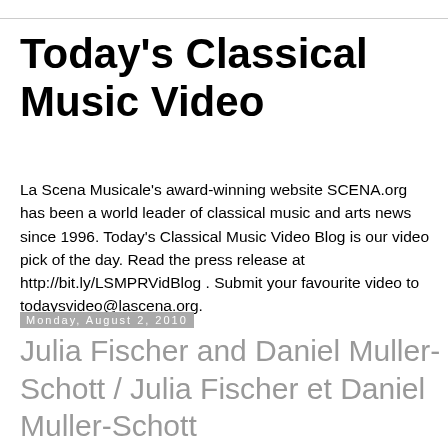Today's Classical Music Video
La Scena Musicale's award-winning website SCENA.org has been a world leader of classical music and arts news since 1996. Today's Classical Music Video Blog is our video pick of the day. Read the press release at http://bit.ly/LSMPRVidBlog . Submit your favourite video to todaysvideo@lascena.org.
Monday, August 2, 2010
Julia Fischer and Daniel Muller-Schott / Julia Fischer et Daniel Muller-Schott